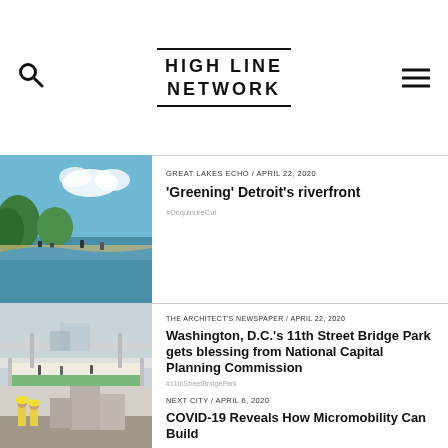HIGH LINE NETWORK
[Figure (photo): Aerial rendering of a green riverfront park with trees, water, and people]
GREAT LAKES ECHO / APRIL 22, 2020
‘Greening’ Detroit’s riverfront
#DequindreCut
[Figure (photo): Architectural rendering of the 11th Street Bridge Park in Washington D.C. with pedestrian walkways]
THE ARCHITECT’S NEWSPAPER / APRIL 22, 2020
Washington, D.C.’s 11th Street Bridge Park gets blessing from National Capital Planning Commission
#11thStreetBridgePark
[Figure (photo): Street-level photo of urban area with people in hard hats]
NEXT CITY / APRIL 6, 2020
COVID-19 Reveals How Micromobility Can Build